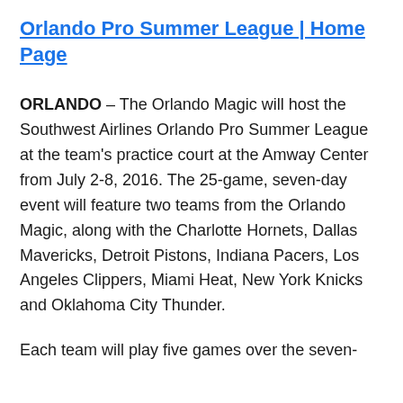Orlando Pro Summer League | Home Page
ORLANDO – The Orlando Magic will host the Southwest Airlines Orlando Pro Summer League at the team's practice court at the Amway Center from July 2-8, 2016. The 25-game, seven-day event will feature two teams from the Orlando Magic, along with the Charlotte Hornets, Dallas Mavericks, Detroit Pistons, Indiana Pacers, Los Angeles Clippers, Miami Heat, New York Knicks and Oklahoma City Thunder.
Each team will play five games over the seven-